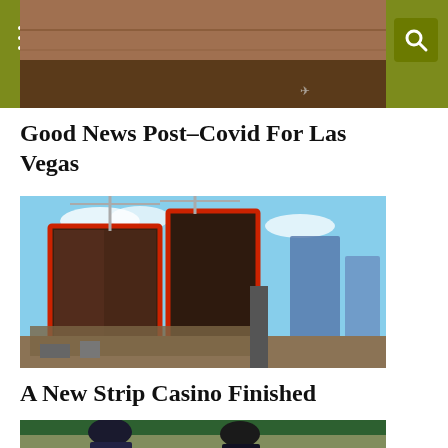Las Vegas Casinos
[Figure (photo): Aerial/partial photo of a Las Vegas Strip building under construction or similar]
Good News Post-Covid For Las Vegas
[Figure (photo): Aerial view of a new large casino resort under construction on the Las Vegas Strip, with two large dark glass tower buildings and cranes visible]
A New Strip Casino Finished
[Figure (photo): Two men at a baseball or sporting event, one wearing a dark cap with a logo]